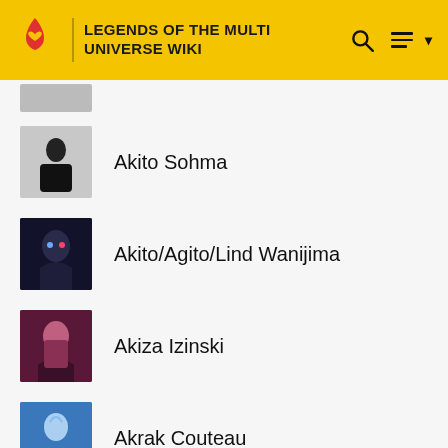LEGENDS OF THE MULTI UNIVERSE WIKI
Akito Sohma
Akito/Agito/Lind Wanijima
Akiza Izinski
Akrak Couteau
Al Sah-him
Aladdin